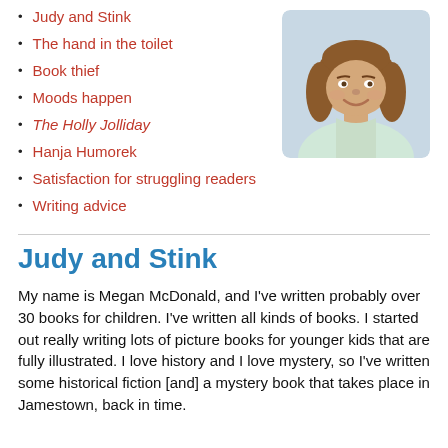Judy and Stink
The hand in the toilet
Book thief
Moods happen
The Holly Jolliday
Hanja Humorek
Satisfaction for struggling readers
Writing advice
[Figure (photo): Smiling woman with long wavy brown hair wearing a light-colored shirt, indoor setting]
Judy and Stink
My name is Megan McDonald, and I've written probably over 30 books for children. I've written all kinds of books. I started out really writing lots of picture books for younger kids that are fully illustrated. I love history and I love mystery, so I've written some historical fiction [and] a mystery book that takes place in Jamestown, back in time.